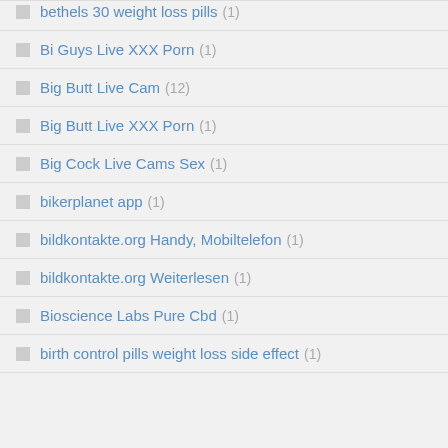bethels 30 weight loss pills (1)
Bi Guys Live XXX Porn (1)
Big Butt Live Cam (12)
Big Butt Live XXX Porn (1)
Big Cock Live Cams Sex (1)
bikerplanet app (1)
bildkontakte.org Handy, Mobiltelefon (1)
bildkontakte.org Weiterlesen (1)
Bioscience Labs Pure Cbd (1)
birth control pills weight loss side effect (1)